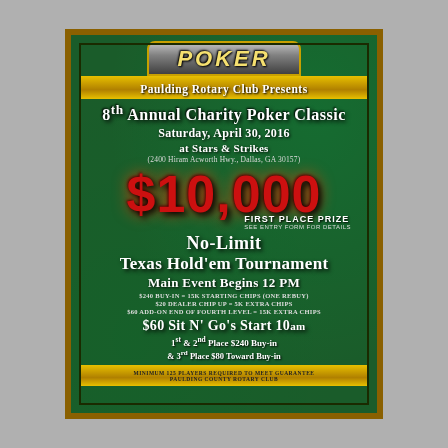POKER
Paulding Rotary Club Presents
8th Annual Charity Poker Classic
Saturday, April 30, 2016
at Stars & Strikes
(2400 Hiram Acworth Hwy., Dallas, GA 30157)
$10,000
First Place Prize
See Entry Form for Details
No-Limit Texas Hold'em Tournament
Main Event Begins 12 PM
$240 Buy-in = 15K Starting Chips (One Rebuy)
$20 Dealer Chip up = 5K Extra Chips
$60 Add-on End of Fourth Level = 15K Extra Chips
$60 Sit N' Go's Start 10AM
1st & 2nd Place $240 Buy-in
& 3rd Place $80 Toward Buy-in
Minimum 125 players required to meet guarantee
Paulding County Rotary Club